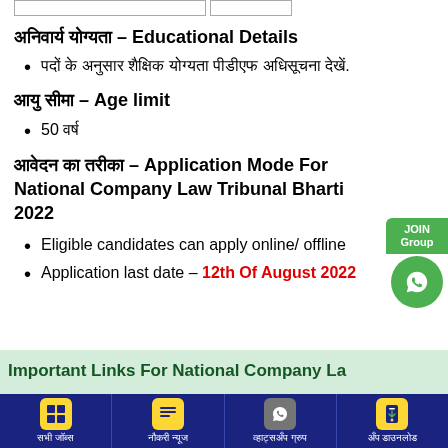अनिवार्य योग्यता – Educational Details
पदों के अनुसार शैक्षिक योग्यता पीडीएफ अधिसूचना देखें.
आयु सीमा – Age limit
50 वर्ष
आवेदन का तरीका – Application Mode For National Company Law Tribunal Bharti 2022
Eligible candidates can apply online/ offline
Application last date – 12th Of August 2022
Important Links For National Company La
सभी जॉब्स | नौकरी न्यूज | व्हाट्सअँप ग्रुप | अँप डाउनलोड